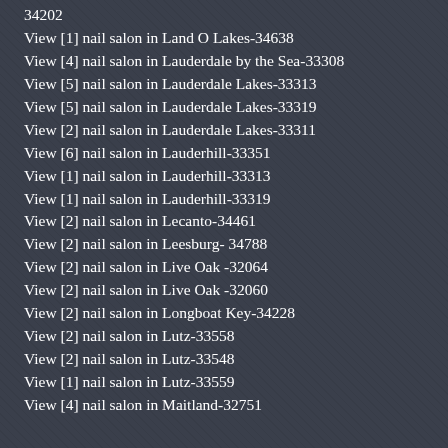34202
View [1] nail salon in Land O Lakes-34638
View [4] nail salon in Lauderdale by the Sea-33308
View [5] nail salon in Lauderdale Lakes-33313
View [5] nail salon in Lauderdale Lakes-33319
View [2] nail salon in Lauderdale Lakes-33311
View [6] nail salon in Lauderhill-33351
View [1] nail salon in Lauderhill-33313
View [1] nail salon in Lauderhill-33319
View [2] nail salon in Lecanto-34461
View [2] nail salon in Leesburg- 34788
View [2] nail salon in Live Oak -32064
View [2] nail salon in Live Oak -32060
View [2] nail salon in Longboat Key-34228
View [2] nail salon in Lutz-33558
View [2] nail salon in Lutz-33548
View [1] nail salon in Lutz-33559
View [4] nail salon in Maitland-32751